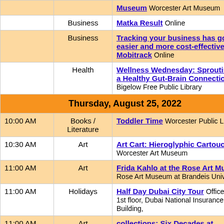| Time | Category | Event |
| --- | --- | --- |
|  |  | Museum Worcester Art Museum |
|  | Business | Matka Result Online |
|  | Business | Tracking your business has got easier and more cost-effective with Mobitrack Online |
|  | Health | Wellness Wednesday: Sprouting for a Healthy Gut-Brain Connection Bigelow Free Public Library |
|  | Thursday, August 25, 2022 |  |
| 10:00 AM | Books / Literature | Toddler Time Worcester Public Library |
| 10:30 AM | Art | Art Cart: Hieroglyphic Cartouches Worcester Art Museum |
| 11:00 AM | Art | Frida Kahlo at the Rose Art Museum Rose Art Museum at Brandeis University |
| 11:00 AM | Holidays | Half Day Dubai City Tour Office 22, 1st floor, Dubai National Insurance Building, |
| 11:00 AM | Art | collections: Six Decades at... |